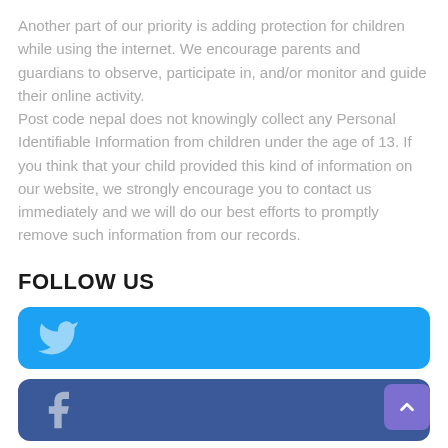Another part of our priority is adding protection for children while using the internet. We encourage parents and guardians to observe, participate in, and/or monitor and guide their online activity.
Post code nepal does not knowingly collect any Personal Identifiable Information from children under the age of 13. If you think that your child provided this kind of information on our website, we strongly encourage you to contact us immediately and we will do our best efforts to promptly remove such information from our records.
FOLLOW US
[Figure (infographic): Twitter social media button - blue rounded rectangle with Twitter bird icon]
[Figure (infographic): Facebook social media button - dark blue rounded rectangle with Facebook 'f' icon]
[Figure (infographic): Instagram social media button - orange to pink to purple gradient rounded rectangle with Instagram camera icon]